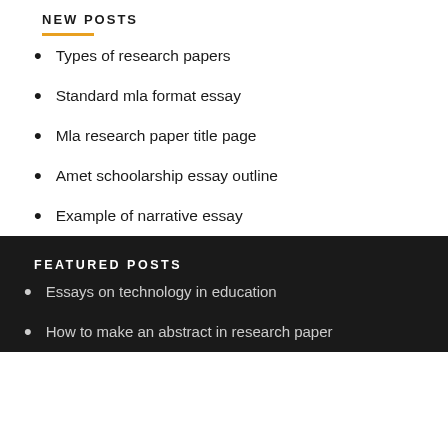NEW POSTS
Types of research papers
Standard mla format essay
Mla research paper title page
Amet schoolarship essay outline
Example of narrative essay
FEATURED POSTS
Essays on technology in education
How to make an abstract in research paper